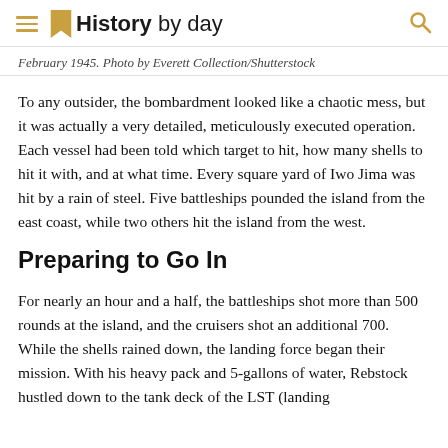History by day
February 1945. Photo by Everett Collection/Shutterstock
To any outsider, the bombardment looked like a chaotic mess, but it was actually a very detailed, meticulously executed operation. Each vessel had been told which target to hit, how many shells to hit it with, and at what time. Every square yard of Iwo Jima was hit by a rain of steel. Five battleships pounded the island from the east coast, while two others hit the island from the west.
Preparing to Go In
For nearly an hour and a half, the battleships shot more than 500 rounds at the island, and the cruisers shot an additional 700. While the shells rained down, the landing force began their mission. With his heavy pack and 5-gallons of water, Rebstock hustled down to the tank deck of the LST (landing